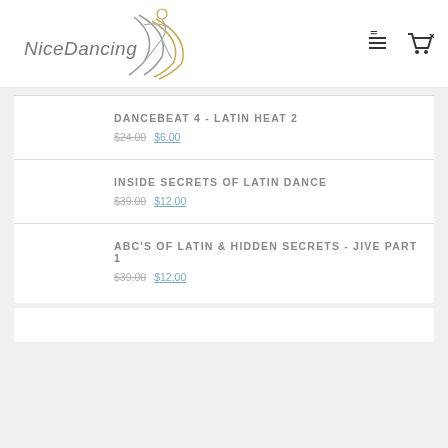[Figure (logo): NiceDancing logo with dancing figures silhouette and golden/grey swoosh lines, with italic text 'NiceDancing']
DANCEBEAT 4 - LATIN HEAT 2
$24.00 $6.00
INSIDE SECRETS OF LATIN DANCE
$39.00 $12.00
ABC'S OF LATIN & HIDDEN SECRETS - JIVE PART 1
$39.00 $12.00